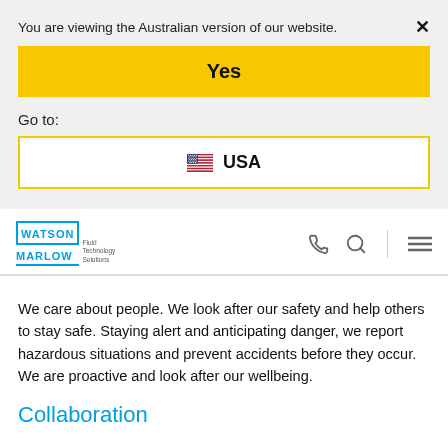You are viewing the Australian version of our website.   ×
Yes
Go to:
🇺🇸  USA
[Figure (logo): Watson Marlow Fluid Technology Solutions logo with cyan/blue text and box around WATSON, underline beneath MARLOW]
We care about people. We look after our safety and help others to stay safe. Staying alert and anticipating danger, we report hazardous situations and prevent accidents before they occur. We are proactive and look after our wellbeing.
Collaboration